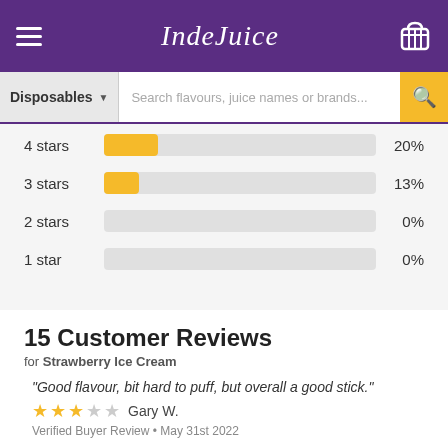IndeJuice
[Figure (screenshot): Search bar with Disposables dropdown and search field]
[Figure (bar-chart): Star rating distribution]
15 Customer Reviews
for Strawberry Ice Cream
"Good flavour, bit hard to puff, but overall a good stick."
★★★☆☆ Gary W. • Verified Buyer Review • May 31st 2022
"Fast and quick delivery value for money"